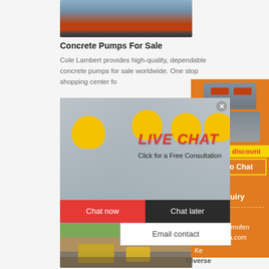[Figure (photo): Truck carrying large cylindrical industrial equipment on a flatbed, trees visible in background]
Concrete Pumps For Sale
Cole Lambert provides high-quality, dependable concrete pumps for sale worldwide. One stop shopping center fo...
[Figure (photo): Live Chat popup with workers in yellow hard hats, woman smiling in foreground. Shows LIVE CHAT heading, Click for a Free Consultation text, Chat now and Chat later buttons, Email contact option]
[Figure (photo): Right sidebar orange panel with mining/crushing machinery images, Enjoy 3% discount banner, Click to Chat button, Enquiry section, limingjlmofen@sina.com email]
[Figure (photo): Construction site with heavy machinery (excavators, loaders) working in a quarry with forest in background]
Fo...
Sa...
Ke...
Diverse